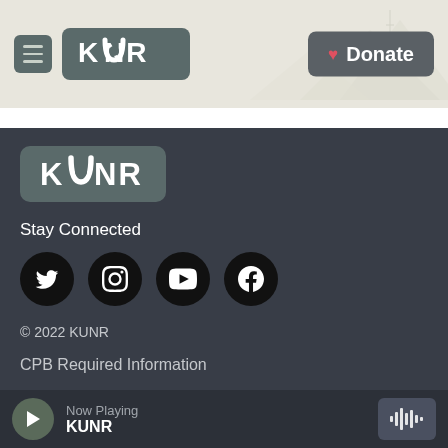[Figure (logo): KUNR radio station header with hamburger menu, KUNR logo, mountain background illustration, and Donate button]
[Figure (logo): KUNR logo in footer area on dark background]
Stay Connected
[Figure (illustration): Social media icons: Twitter, Instagram, YouTube, Facebook — circular black buttons]
© 2022 KUNR
CPB Required Information
Financial Documents
Now Playing KUNR